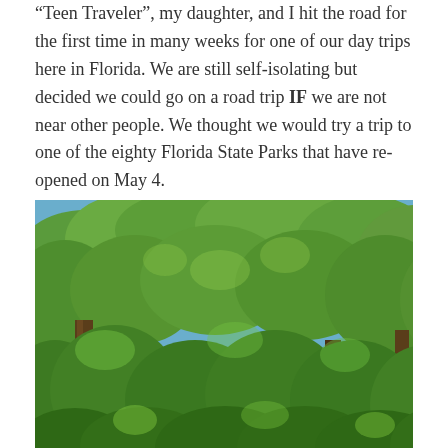“Teen Traveler”, my daughter, and I hit the road for the first time in many weeks for one of our day trips here in Florida. We are still self-isolating but decided we could go on a road trip IF we are not near other people. We thought we would try a trip to one of the eighty Florida State Parks that have re-opened on May 4.
[Figure (photo): An outdoor photo looking up at a dense canopy of green trees with blue sky visible through the branches. The trees appear to be in a Florida state park with lush, green foliage filling most of the frame.]